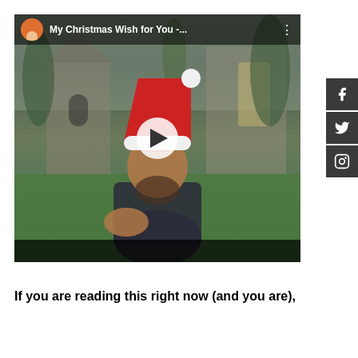[Figure (screenshot): Screenshot of a YouTube video titled 'My Christmas Wish for You -...' showing a man wearing a Santa hat pointing at the camera, standing outdoors in front of a stone church building with trees. There is a play button overlay in the center. Social media buttons (Facebook, Twitter, Instagram) appear on the right side.]
If you are reading this right now (and you are),